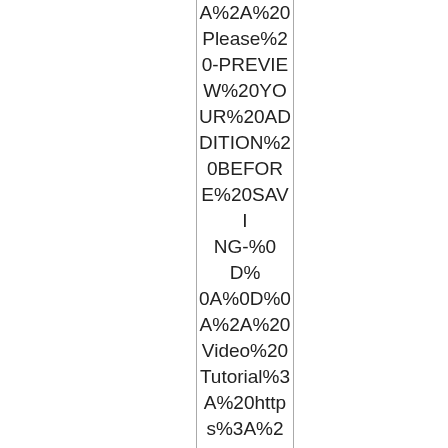A%2A%20Please%20-PREVIEW%20YOUR%20ADDITION%20BEFORE%20SAVING-%0D%0A%0D%0A%2A%20Video%20Tutorial%3A%20https%3A%2F%2Fwww.youtube.com%2Fwatch%3Fv%3DNtOl1gLz3Fo%